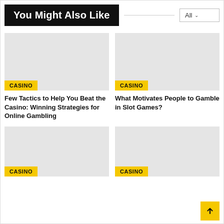You Might Also Like
[Figure (screenshot): Filter dropdown button showing 'All' with a chevron arrow]
[Figure (photo): Gray placeholder image for article 1]
CASINO
Few Tactics to Help You Beat the Casino: Winning Strategies for Online Gambling
[Figure (photo): Gray placeholder image for article 2]
CASINO
What Motivates People to Gamble in Slot Games?
[Figure (photo): Gray placeholder image for article 3]
CASINO
[Figure (photo): Gray placeholder image for article 4]
CASINO